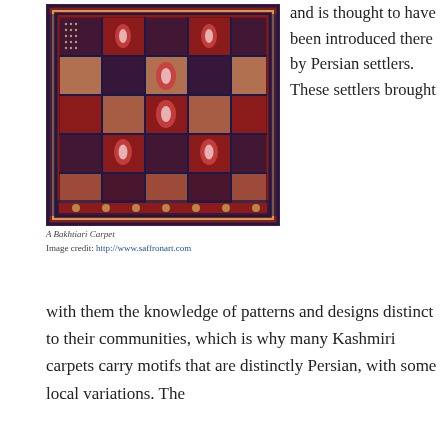[Figure (photo): A Bakhtiari Carpet — an ornate Persian-style rug with geometric and floral patterns in red, navy, and cream, organized in a grid of panels.]
A Bakhtiari Carpet
Image credit: http://www.saffronart.com
and is thought to have been introduced there by Persian settlers. These settlers brought with them the knowledge of patterns and designs distinct to their communities, which is why many Kashmiri carpets carry motifs that are distinctly Persian, with some local variations. The
with them the knowledge of patterns and designs distinct to their communities, which is why many Kashmiri carpets carry motifs that are distinctly Persian, with some local variations. The